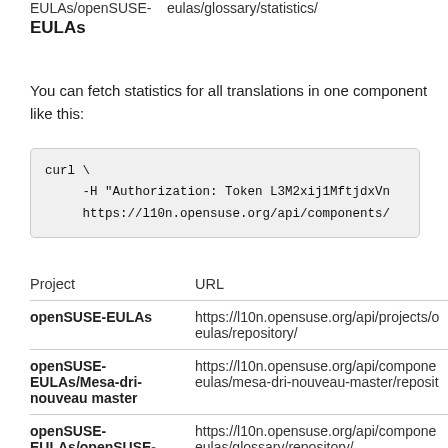EULAs/openSUSE- eulas/glossary/statistics/ EULAs
You can fetch statistics for all translations in one component like this:
| Project | URL |
| --- | --- |
| openSUSE-EULAs | https://l10n.opensuse.org/api/projects/o eulas/repository/ |
| openSUSE-EULAs/Mesa-dri-nouveau master | https://l10n.opensuse.org/api/compone eulas/mesa-dri-nouveau-master/reposit |
| openSUSE-EULAs/openSUSE- | https://l10n.opensuse.org/api/compone eulas/glossary/repository/ |